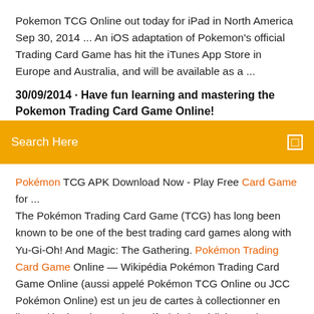Pokemon TCG Online out today for iPad in North America Sep 30, 2014 ... An iOS adaptation of Pokemon's official Trading Card Game has hit the iTunes App Store in Europe and Australia, and will be available as a ...
30/09/2014 · Have fun learning and mastering the Pokemon Trading Card Game Online! Prepare your ...
Search Here
Pokémon TCG APK Download Now - Play Free Card Game for ... The Pokémon Trading Card Game (TCG) has long been known to be one of the best trading card games along with Yu-Gi-Oh! And Magic: The Gathering. Pokémon Trading Card Game Online — Wikipédia Pokémon Trading Card Game Online (aussi appelé Pokémon TCG Online ou JCC Pokémon Online) est un jeu de cartes à collectionner en ligne, développé par Dire Wolf Digital et édité par The Pokémon Company sorti sur iOS, Mac OS X, Microsoft Windows et Android. Pokémon Trading Card Game